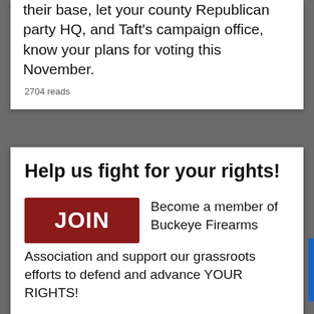their base, let your county Republican party HQ, and Taft's campaign office, know your plans for voting this November.
2704 reads
Help us fight for your rights!
[Figure (other): Red JOIN button]
Become a member of Buckeye Firearms Association and support our grassroots efforts to defend and advance YOUR RIGHTS!